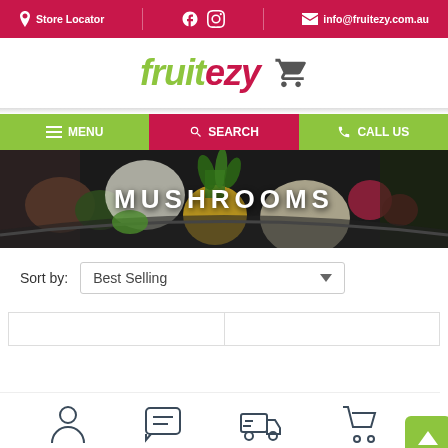Store Locator | Facebook Instagram | info@fruitezy.com.au
fruitezy
MENU | SEARCH | CALL US
[Figure (photo): Hero banner image showing a basket of mixed fruits and vegetables with text MUSHROOMS overlaid]
Sort by: Best Selling
[Figure (screenshot): Bottom navigation bar with icons: person/account, chat/message, delivery truck, shopping cart. Green back-to-top button with up arrow on right.]